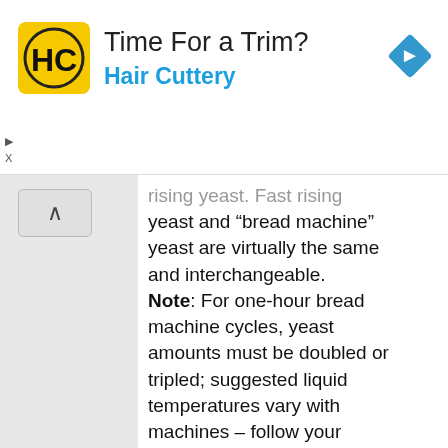[Figure (other): Hair Cuttery advertisement banner with yellow HC logo, 'Time For a Trim?' headline, 'Hair Cuttery' subtext in blue, and blue navigation diamond icon on the right]
rising yeast. Fast rising yeast and “bread machine” yeast are virtually the same and interchangeable. Note: For one-hour bread machine cycles, yeast amounts must be doubled or tripled; suggested liquid temperatures vary with machines – follow your manufacturer’s instructions.
A 7g (¼-ounce) envelope of yeast contains 2¼ teaspoons. Yeast can also be purchased in bulk so you can measure the exact amount needed.